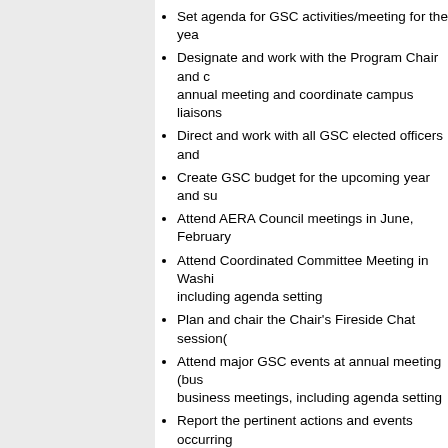Set agenda for GSC activities/meeting for the year
Designate and work with the Program Chair and coordinate annual meeting and coordinate campus liaisons
Direct and work with all GSC elected officers and
Create GSC budget for the upcoming year and su
Attend AERA Council meetings in June, February
Attend Coordinated Committee Meeting in Washington including agenda setting
Plan and chair the Chair's Fireside Chat session(
Attend major GSC events at annual meeting (business meetings, including agenda setting
Report the pertinent actions and events occurring Committee meetings to the GSC
Prepare article for each issue of the Graduate St
Prepare GSC Annual Report for submission to AE
Prepare pass-down materials for incoming Chair
Responsibilities, Year 3 (as Past Chair):
Chair the nominating committee, to assemble sla
Plan and chair the Past Chair's Fireside Chat ses
Attend the Coordinated Committee Meeting in Wa
Attend major GSC events at annual meeting (bus
Serve in advisory capacity to GSC Chair and Ch